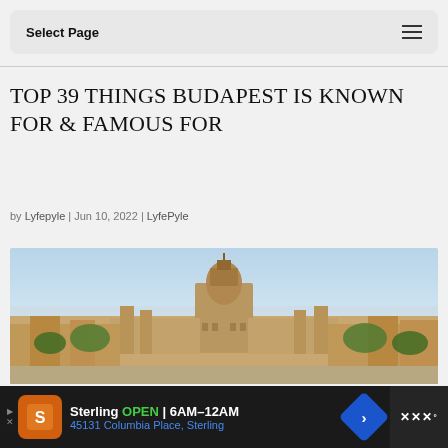Select Page
TOP 39 THINGS BUDAPEST IS KNOWN FOR & FAMOUS FOR
by Lyfepyle | Jun 10, 2022 | LyfePyle
[Figure (photo): Aerial panoramic view of Budapest city with the Hungarian Parliament Building and cityscape under a blue sky]
Sterling OPEN 6AM–12AM 45131 Columbia Place, Sterling